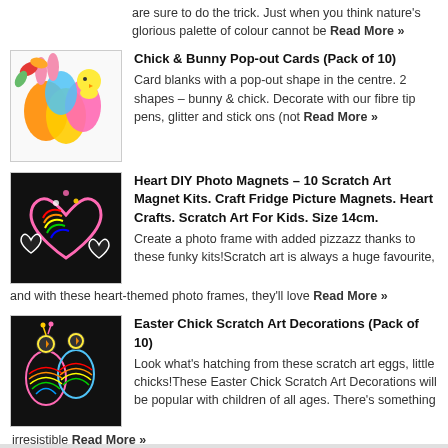are sure to do the trick. Just when you think nature's glorious palette of colour cannot be Read More »
[Figure (photo): Chick & Bunny Pop-out Cards product image showing colorful pop-out card shapes]
Chick & Bunny Pop-out Cards (Pack of 10)
Card blanks with a pop-out shape in the centre. 2 shapes – bunny & chick. Decorate with our fibre tip pens, glitter and stick ons (not Read More »
[Figure (photo): Heart DIY Photo Magnets scratch art product image showing heart-shaped scratch art magnets]
Heart DIY Photo Magnets – 10 Scratch Art Magnet Kits. Craft Fridge Picture Magnets. Heart Crafts. Scratch Art For Kids. Size 14cm.
Create a photo frame with added pizzazz thanks to these funky kits!Scratch art is always a huge favourite, and with these heart-themed photo frames, they'll love Read More »
[Figure (photo): Easter Chick Scratch Art Decorations product image showing scratch art egg decorations with chicks]
Easter Chick Scratch Art Decorations (Pack of 10)
Look what's hatching from these scratch art eggs, little chicks!These Easter Chick Scratch Art Decorations will be popular with children of all ages. There's something irresistible Read More »